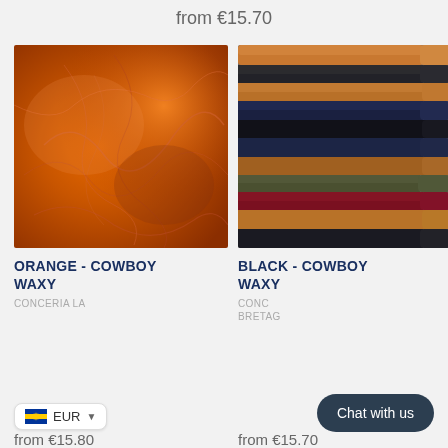from €15.70
[Figure (photo): Close-up of orange/amber waxy leather showing natural grain and veining texture]
[Figure (photo): Stack of rolled leather hides in multiple colors: tan, black, navy, olive, red, arranged horizontally]
ORANGE - COWBOY WAXY
CONCERIA LA
BLACK - COWBOY WAXY
CONC BRETAG
from €15.80
from €15.70